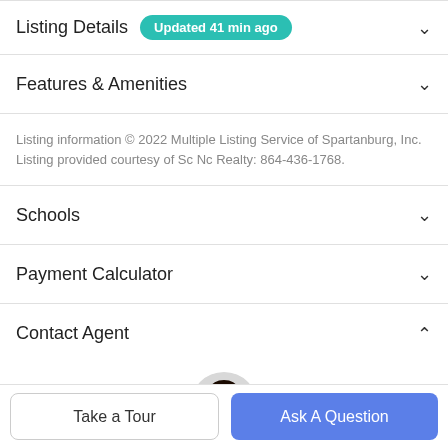Listing Details  Updated 41 min ago
Features & Amenities
Listing information © 2022 Multiple Listing Service of Spartanburg, Inc. Listing provided courtesy of Sc Nc Realty: 864-436-1768.
Schools
Payment Calculator
Contact Agent
[Figure (photo): Agent headshot photo, woman smiling]
Take a Tour
Ask A Question